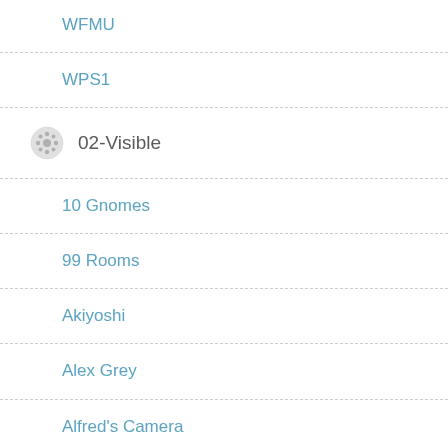WFMU
WPS1
02-Visible
10 Gnomes
99 Rooms
Akiyoshi
Alex Grey
Alfred's Camera
Anatomy TV
Art Dorks